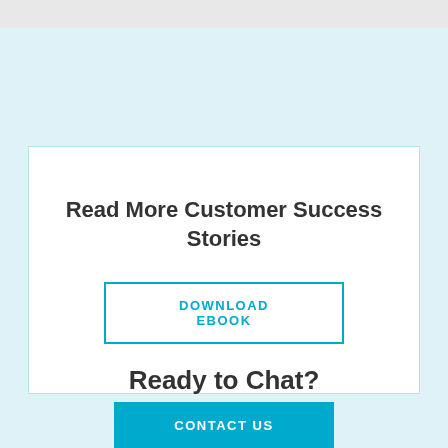Read More Customer Success Stories
DOWNLOAD EBOOK
Ready to Chat?
CONTACT US